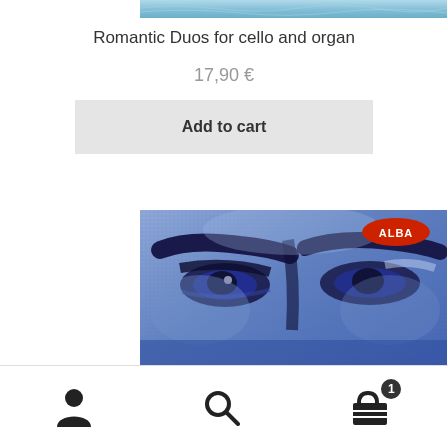[Figure (photo): Top portion of album cover image, showing a blue-tinted artistic photo]
Romantic Duos for cello and organ
17,90 €
Add to cart
[Figure (photo): Album cover for Schumann - blue tinted close-up portrait of a face showing the eyes, with ALBA record label logo in the top right corner, and 'Schumann' text partially visible at the bottom]
Navigation bar with user account icon, search icon, and shopping cart icon with badge showing 1 item